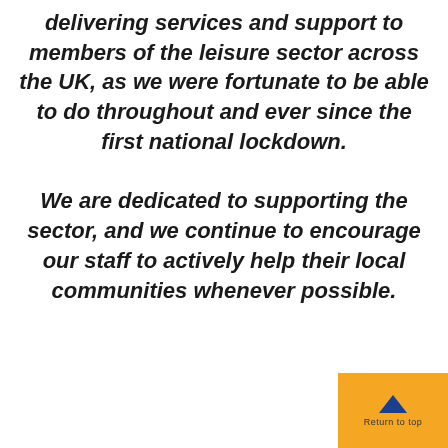delivering services and support to members of the leisure sector across the UK, as we were fortunate to be able to do throughout and ever since the first national lockdown.
We are dedicated to supporting the sector, and we continue to encourage our staff to actively help their local communities whenever possible.